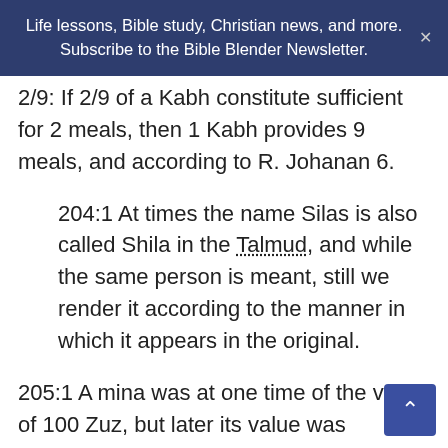Life lessons, Bible study, Christian news, and more. Subscribe to the Bible Blender Newsletter.
2/9: If 2/9 of a Kabh constitute sufficient for 2 meals, then 1 Kabh provides 9 meals, and according to R. Johanan 6.
204:1 At times the name Silas is also called Shila in the Talmud, and while the same person is meant, still we render it according to the manner in which it appears in the original.
205:1 A mina was at one time of the value of 100 Zuz, but later its value was increased to 60 Shekel or Sela, which is